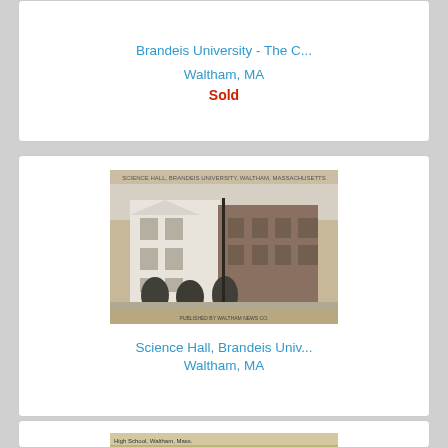Brandeis University - The C...
Waltham, MA
Sold
[Figure (photo): Black and white vintage photograph of Science Hall at Brandeis University, Waltham, MA. A multi-story brick and white building with trees in front, taken in winter.]
Science Hall, Brandeis Univ...
Waltham, MA
[Figure (photo): Sepia-toned vintage photograph of High School, Waltham, Mass. Partially visible at bottom of page.]